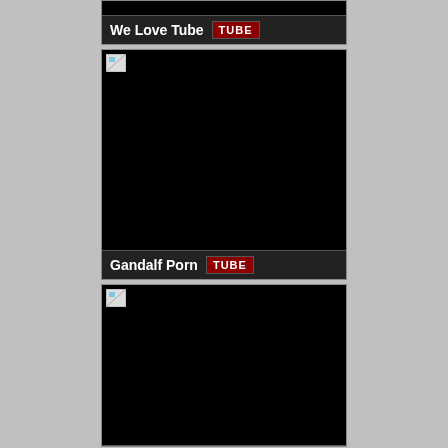[Figure (screenshot): First card: partial black thumbnail (clipped at top) with title bar showing 'We Love Tube' and red TUBE badge]
We Love Tube TUBE
[Figure (screenshot): Second card: black thumbnail area with broken image icon, title bar showing 'Gandalf Porn' and red TUBE badge]
Gandalf Porn TUBE
[Figure (screenshot): Third card: black thumbnail area with broken image icon, partially visible, clipped at bottom]